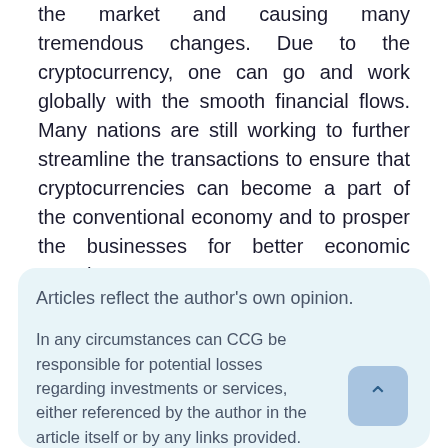the market and causing many tremendous changes. Due to the cryptocurrency, one can go and work globally with the smooth financial flows. Many nations are still working to further streamline the transactions to ensure that cryptocurrencies can become a part of the conventional economy and to prosper the businesses for better economic growth.
Articles reflect the author's own opinion.
In any circumstances can CCG be responsible for potential losses regarding investments or services, either referenced by the author in the article itself or by any links provided.